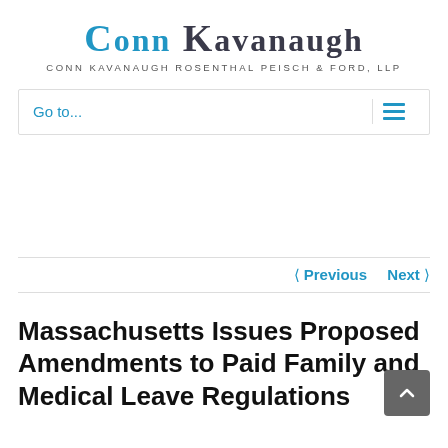[Figure (logo): Conn Kavanaugh law firm logo with full name 'Conn Kavanaugh Rosenthal Peisch & Ford, LLP' below]
Go to...
< Previous   Next >
Massachusetts Issues Proposed Amendments to Paid Family and Medical Leave Regulations